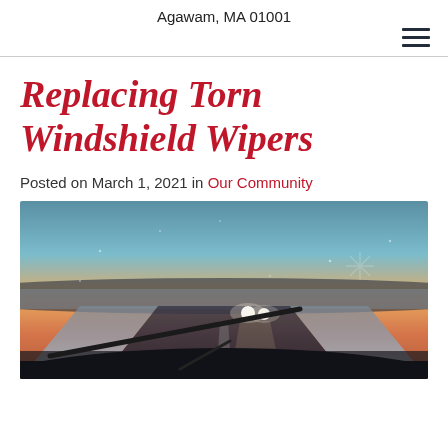Agawam, MA 01001
Replacing Torn Windshield Wipers
Posted on March 1, 2021 in Our Community
[Figure (photo): View from inside a car through the windshield showing a wintry road at dusk/sunset with headlights of an oncoming vehicle visible and a windshield wiper in the foreground. The sky shows orange and teal sunset colors.]